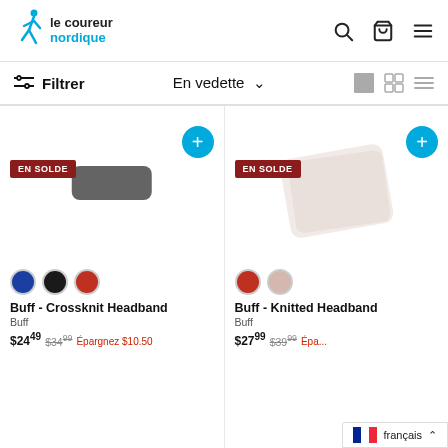[Figure (logo): Le Coureur Nordique logo with running figure icon in blue and brand name text]
Filtrer
En vedette
[Figure (screenshot): Product listing page showing two Buff headband products on sale. Left: Buff - Crossknit Headband in blue/black/red swatches, $24.49, was $34.99, save $10.50. Right: Buff - Knitted Headband in red/beige swatches, $27.99, was $39.99.]
Buff - Crossknit Headband
Buff
$24.49 $34.99 Épargnez $10.50
Buff - Knitted Headband
Buff
$27.99 $39.99